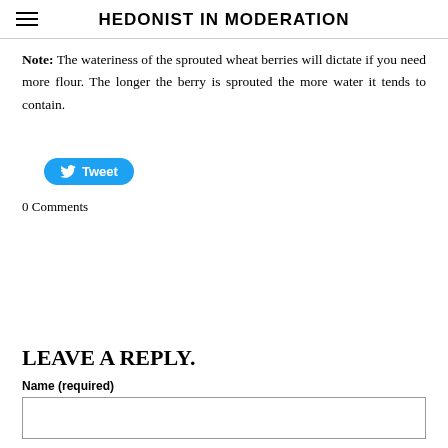HEDONIST IN MODERATION
Note: The wateriness of the sprouted wheat berries will dictate if you need more flour. The longer the berry is sprouted the more water it tends to contain.
[Figure (other): Twitter Tweet button]
0 Comments
LEAVE A REPLY.
Name (required)